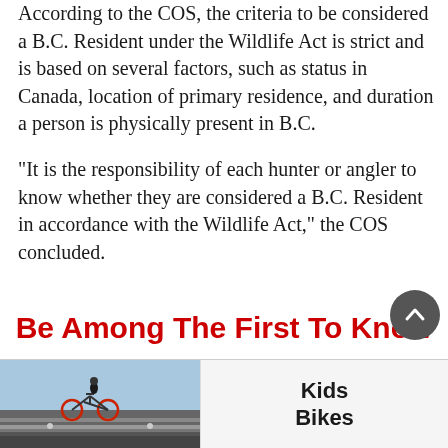According to the COS, the criteria to be considered a B.C. Resident under the Wildlife Act is strict and is based on several factors, such as status in Canada, location of primary residence, and duration a person is physically present in B.C.
“It is the responsibility of each hunter or angler to know whether they are considered a B.C. Resident in accordance with the Wildlife Act,” the COS concluded.
Be Among The First To Know
Sign up for a free account today, and receive top headlines in your inbox Monday to
[Figure (photo): Advertisement banner showing a child riding a BMX bike with text 'Kids Bikes']